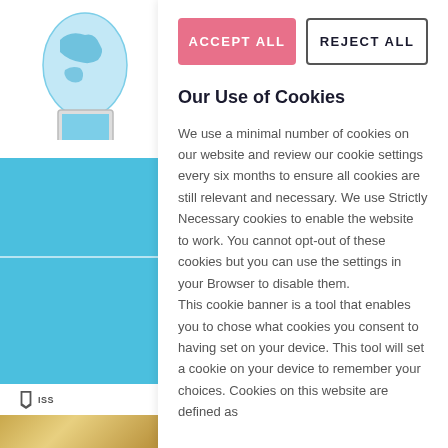[Figure (screenshot): Left portion of a website showing a globe icon, blue navigation banners, ISSUU bookmark icon, and partial article title 'Mercy Siste... on Int...' with a gold image at the bottom]
ACCEPT ALL
REJECT ALL
Our Use of Cookies
We use a minimal number of cookies on our website and review our cookie settings every six months to ensure all cookies are still relevant and necessary. We use Strictly Necessary cookies to enable the website to work. You cannot opt-out of these cookies but you can use the settings in your Browser to disable them. This cookie banner is a tool that enables you to chose what cookies you consent to having set on your device. This tool will set a cookie on your device to remember your choices. Cookies on this website are defined as